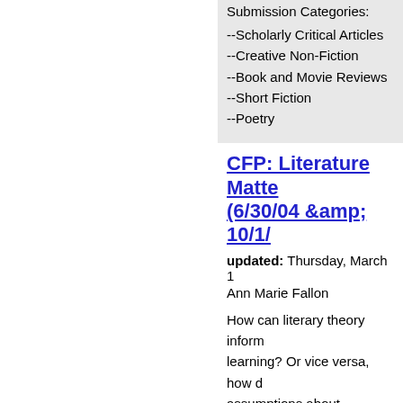Submission Categories:
--Scholarly Critical Articles
--Creative Non-Fiction
--Book and Movie Reviews
--Short Fiction
--Poetry
CFP: Literature Matters (6/30/04 &amp; 10/1/
updated: Thursday, March 1
Ann Marie Fallon
How can literary theory inform learning? Or vice versa, how do assumptions about literature life? In what ways do current the question of civitas? We ar narratives, reflections, positio